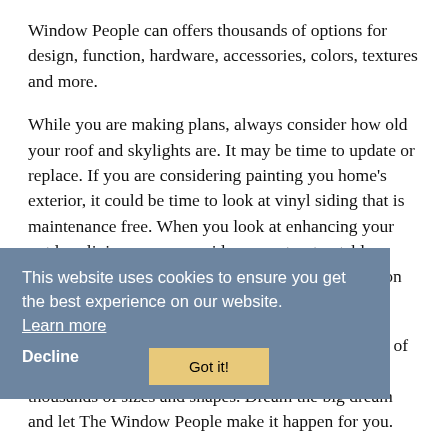Window People can offers thousands of options for design, function, hardware, accessories, colors, textures and more.
While you are making plans, always consider how old your roof and skylights are. It may be time to update or replace. If you are considering painting you home's exterior, it could be time to look at vinyl siding that is maintenance free. When you look at enhancing your outdoor living space, consider a great, retractable awning for your deck or porch to expand your season and shade your family in the heat.
Replacement doors and windows can create a sense of drama in a room. Doors and Windows come in thousands of sizes and shapes. Dream the big dream and let The Window People make it happen for you.
Interior Finishes
Choose a finish that will capture the character of your
This website uses cookies to ensure you get the best experience on our website.
Learn more